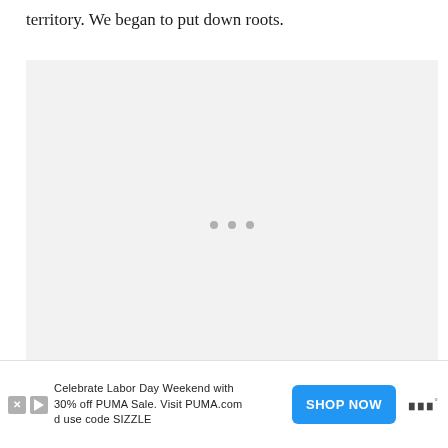territory. We began to put down roots.
[Figure (other): Large image placeholder with loading indicator — light gray rectangle with three small gray dots centered, indicating an image is loading or unavailable.]
Celebrate Labor Day Weekend with 30% off PUMA Sale. Visit PUMA.com and use code SIZZLE